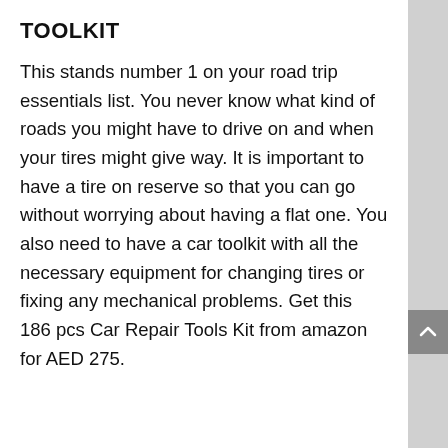TOOLKIT
This stands number 1 on your road trip essentials list. You never know what kind of roads you might have to drive on and when your tires might give way. It is important to have a tire on reserve so that you can go without worrying about having a flat one. You also need to have a car toolkit with all the necessary equipment for changing tires or fixing any mechanical problems. Get this 186 pcs Car Repair Tools Kit from amazon for AED 275.